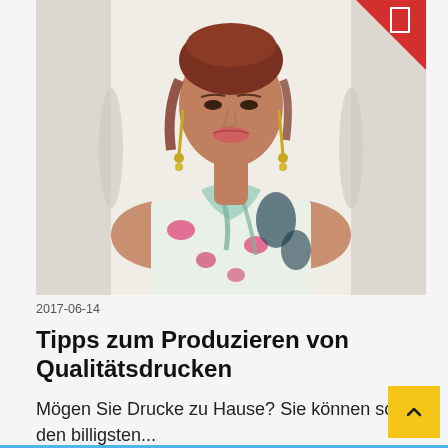[Figure (photo): Fashion model wearing a sleeveless floral patterned dress with a tied bow neckline, standing against a white ornate background. Large dangling earrings. Upper body and face visible.]
2017-06-14
Tipps zum Produzieren von Qualitätsdrucken
Mögen Sie Drucke zu Hause? Sie können sogar den billigsten...